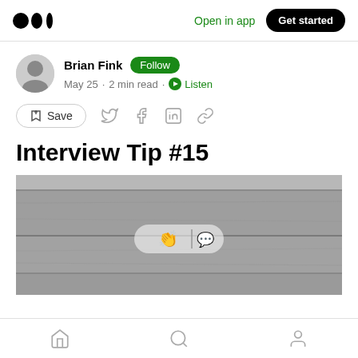Medium logo | Open in app | Get started
Brian Fink Follow
May 25 · 2 min read · Listen
Save (share icons)
Interview Tip #15
[Figure (photo): Grayscale photo of wooden/concrete surface with clapping and comment icons overlay]
Home | Search | Profile